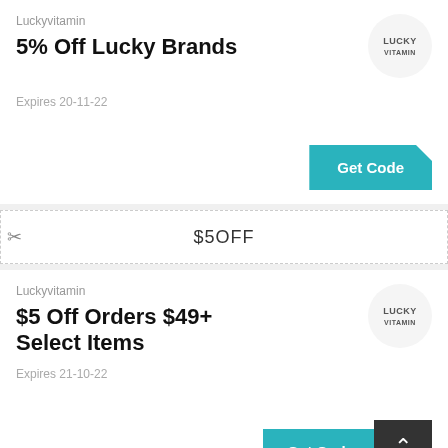Luckyvitamin
5% Off Lucky Brands
[Figure (logo): Lucky Vitamin circular logo]
Get Code
Expires 20-11-22
$5OFF
Luckyvitamin
$5 Off Orders $49+ Select Items
[Figure (logo): Lucky Vitamin circular logo]
Get Code
Expires 21-10-22
SALES